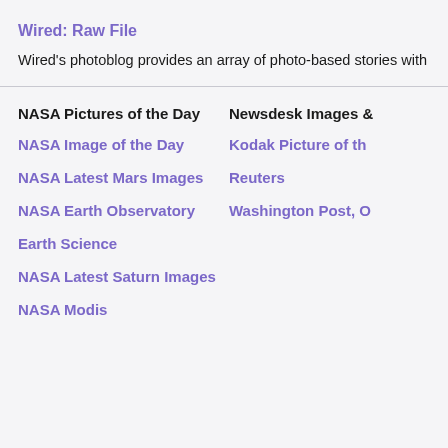Wired: Raw File
Wired's photoblog provides an array of photo-based stories with the magazin
NASA Pictures of the Day
NASA Image of the Day
NASA Latest Mars Images
NASA Earth Observatory
Earth Science
NASA Latest Saturn Images
NASA Modis
Newsdesk Images
Kodak Picture of th
Reuters
Washington Post, O